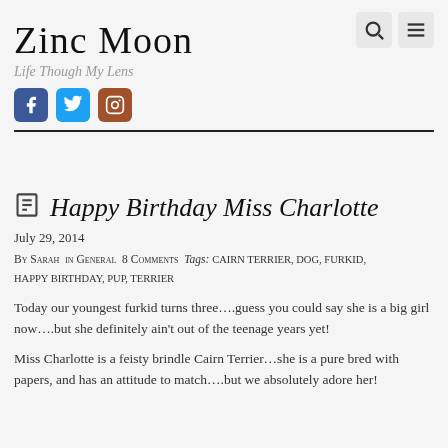Zinc Moon — Life Though My Lens
Happy Birthday Miss Charlotte
July 29, 2014
By Sarah  in General  8 Comments  Tags: cairn terrier, dog, furkid, happy birthday, pup, terrier
Today our youngest furkid turns three….guess you could say she is a big girl now….but she definitely ain't out of the teenage years yet!
Miss Charlotte is a feisty brindle Cairn Terrier…she is a pure bred with papers, and has an attitude to match….but we absolutely adore her!